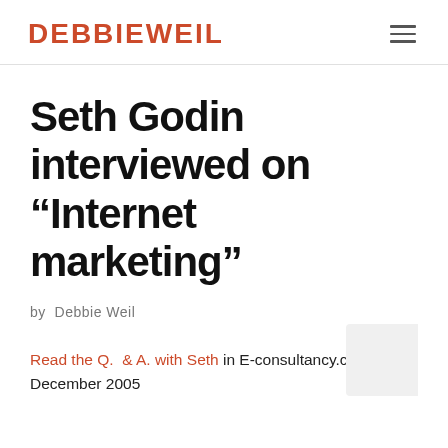DEBBIEWEIL
Seth Godin interviewed on “Internet marketing”
by Debbie Weil
Read the Q. & A. with Seth in E-consultancy.com’s December 2005